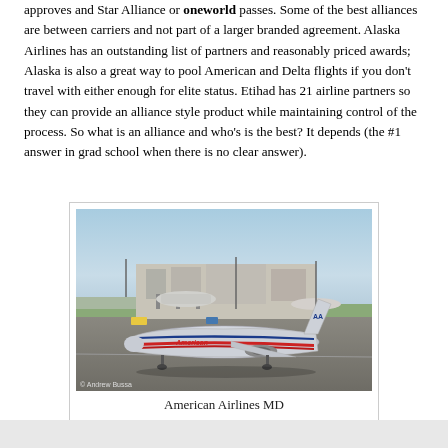approves and Star Alliance or oneworld passes.  Some of the best alliances are between carriers and not part of a larger branded agreement.  Alaska Airlines has an outstanding list of partners and reasonably priced awards; Alaska is also a great way to pool American and Delta flights if you don't travel with either enough for elite status.  Etihad has 21 airline partners so they can provide an alliance style product while maintaining control of the process.  So what is an alliance and who's is the best?  It depends (the #1 answer in grad school when there is no clear answer).
[Figure (photo): American Airlines MD-80 aircraft taxiing on an airport tarmac with terminal and other aircraft visible in background. Photo credit: © Andrew Bussa]
American Airlines MD